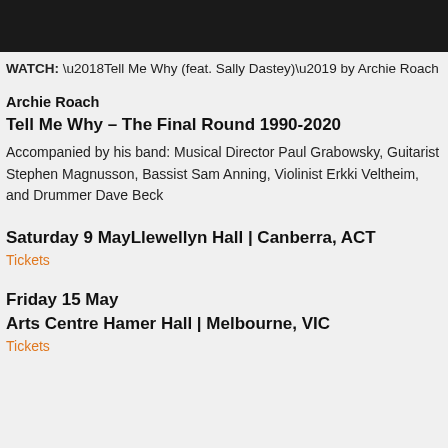[Figure (photo): Dark photo strip showing musicians in performance, cropped at top of page]
WATCH: ‘Tell Me Why (feat. Sally Dastey)’ by Archie Roach
Archie Roach
Tell Me Why – The Final Round 1990-2020
Accompanied by his band: Musical Director Paul Grabowsky, Guitarist Stephen Magnusson, Bassist Sam Anning, Violinist Erkki Veltheim, and Drummer Dave Beck
Saturday 9 MayLlewellyn Hall | Canberra, ACT
Tickets
Friday 15 May
Arts Centre Hamer Hall | Melbourne, VIC
Tickets